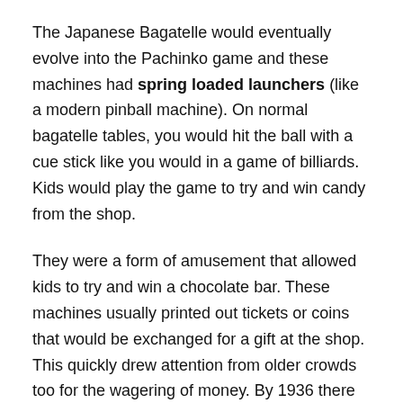The Japanese Bagatelle would eventually evolve into the Pachinko game and these machines had spring loaded launchers (like a modern pinball machine). On normal bagatelle tables, you would hit the ball with a cue stick like you would in a game of billiards. Kids would play the game to try and win candy from the shop.
They were a form of amusement that allowed kids to try and win a chocolate bar. These machines usually printed out tickets or coins that would be exchanged for a gift at the shop. This quickly drew attention from older crowds too for the wagering of money. By 1936 there were an estimated 35 Pachinko parlors in Kochi alone.